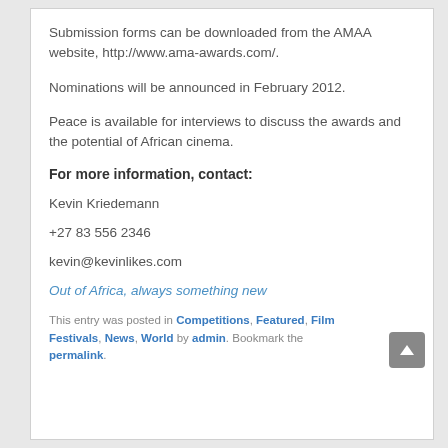Submission forms can be downloaded from the AMAA website, http://www.ama-awards.com/.
Nominations will be announced in February 2012.
Peace is available for interviews to discuss the awards and the potential of African cinema.
For more information, contact:
Kevin Kriedemann
+27 83 556 2346
kevin@kevinlikes.com
Out of Africa, always something new
This entry was posted in Competitions, Featured, Film Festivals, News, World by admin. Bookmark the permalink.